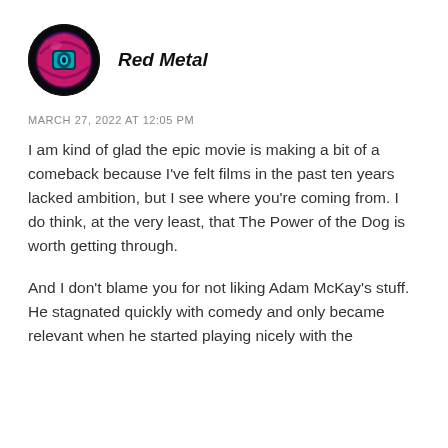[Figure (photo): Circular avatar image of Red Metal — a dark background with a pink/magenta and black spherical object resembling a stylized magic 8-ball or Digimon device with a teal screen in the center.]
Red Metal
MARCH 27, 2022 AT 12:05 PM
I am kind of glad the epic movie is making a bit of a comeback because I've felt films in the past ten years lacked ambition, but I see where you're coming from. I do think, at the very least, that The Power of the Dog is worth getting through.
And I don't blame you for not liking Adam McKay's stuff. He stagnated quickly with comedy and only became relevant when he started playing nicely with the